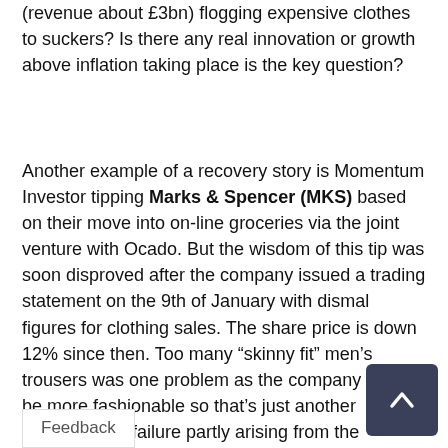(revenue about £3bn) flogging expensive clothes to suckers? Is there any real innovation or growth above inflation taking place is the key question?
Another example of a recovery story is Momentum Investor tipping Marks & Spencer (MKS) based on their move into on-line groceries via the joint venture with Ocado. But the wisdom of this tip was soon disproved after the company issued a trading statement on the 9th of January with dismal figures for clothing sales. The share price is down 12% since then. Too many “skinny fit” men’s trousers was one problem as the company tried to be more fashionable so that’s just another management failure partly arising from the sclerotic supply chain at the company. Tipping shares can be a quick lesson in humility of course which is one reason why this writer does not do it. Let those who get paid for their alleged wisdom continue to do so though so we can have the occas laugh